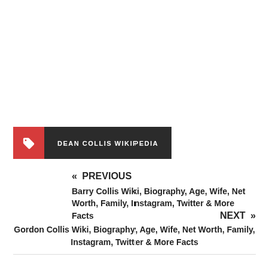DEAN COLLIS WIKIPEDIA
« PREVIOUS
Barry Collis Wiki, Biography, Age, Wife, Net Worth, Family, Instagram, Twitter & More Facts
NEXT »
Gordon Collis Wiki, Biography, Age, Wife, Net Worth, Family, Instagram, Twitter & More Facts